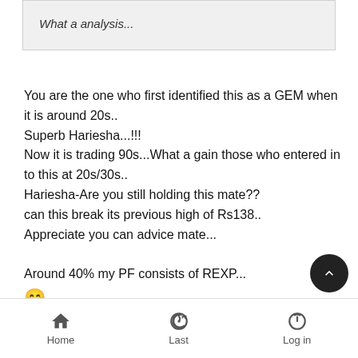What a analysis...
You are the one who first identified this as a GEM when it is around 20s..
Superb Hariesha...!!!
Now it is trading 90s...What a gain those who entered in to this at 20s/30s..
Hariesha-Are you still holding this mate??
can this break its previous high of Rs138..
Appreciate you can advice mate...

Around 40% my PF consists of REXP...
😊
Like   Dislike
Home   Last   Log in